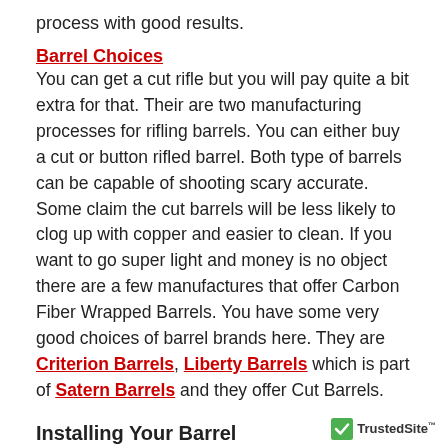process with good results.
Barrel Choices
You can get a cut rifle but you will pay quite a bit extra for that. Their are two manufacturing processes for rifling barrels. You can either buy a cut or button rifled barrel. Both type of barrels can be capable of shooting scary accurate. Some claim the cut barrels will be less likely to clog up with copper and easier to clean. If you want to go super light and money is no object there are a few manufactures that offer Carbon Fiber Wrapped Barrels. You have some very good choices of barrel brands here. They are Criterion Barrels, Liberty Barrels which is part of Satern Barrels and they offer Cut Barrels.
Installing Your Barrel